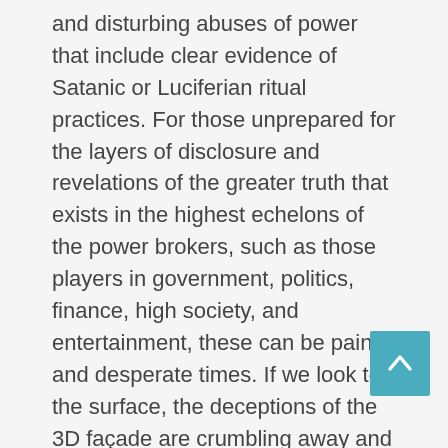and disturbing abuses of power that include clear evidence of Satanic or Luciferian ritual practices. For those unprepared for the layers of disclosure and revelations of the greater truth that exists in the highest echelons of the power brokers, such as those players in government, politics, finance, high society, and entertainment, these can be painful and desperate times. If we look to the surface, the deceptions of the 3D façade are crumbling away and those with the eyes to see, are observing how far down the rabbit hole really goes. These are the darkest areas filled with many different narratives of gross abuses of power and deceptions, being carried out through the mainstream media to brainwash people into believing the 3D narrative that we live in a free society.